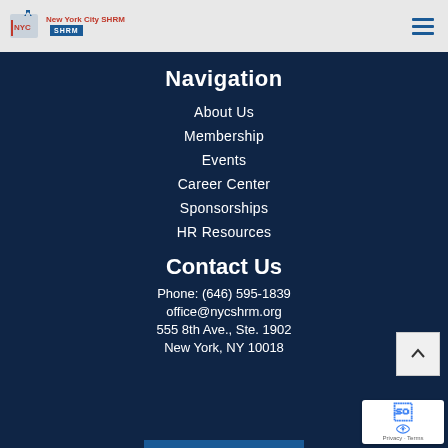New York City SHRM | SHRM
Navigation
About Us
Membership
Events
Career Center
Sponsorships
HR Resources
Contact Us
Phone: (646) 595-1839
office@nycshrm.org
555 8th Ave., Ste. 1902
New York, NY 10018